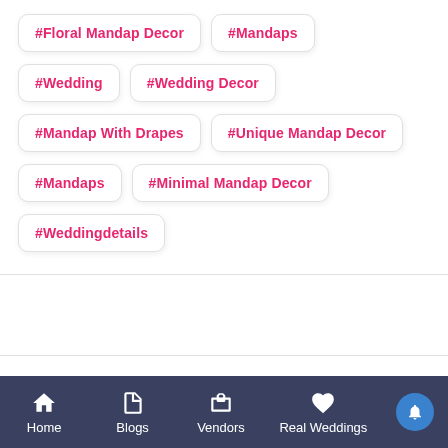#Floral Mandap Decor
#Mandaps
#Wedding
#Wedding Decor
#Mandap With Drapes
#Unique Mandap Decor
#Mandaps
#Minimal Mandap Decor
#Weddingdetails
Related Blogs
Home  Blogs  Vendors  Real Weddings